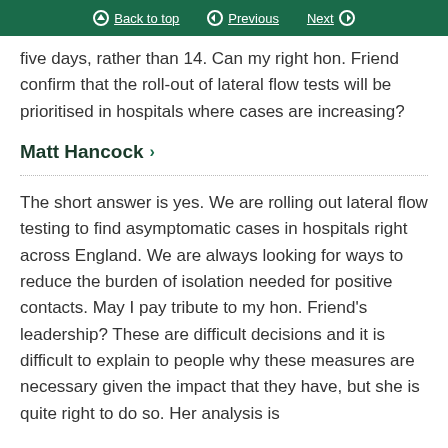Back to top  Previous  Next
five days, rather than 14. Can my right hon. Friend confirm that the roll-out of lateral flow tests will be prioritised in hospitals where cases are increasing?
Matt Hancock
The short answer is yes. We are rolling out lateral flow testing to find asymptomatic cases in hospitals right across England. We are always looking for ways to reduce the burden of isolation needed for positive contacts. May I pay tribute to my hon. Friend's leadership? These are difficult decisions and it is difficult to explain to people why these measures are necessary given the impact that they have, but she is quite right to do so. Her analysis is